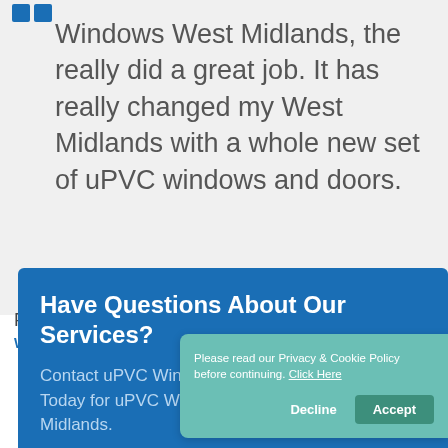Windows West Midlands, the really did a great job. It has really changed my West Midlands with a whole new set of uPVC windows and doors.
Pamela Clark
WEST MIDLANDS
Have Questions About Our Services?
Contact uPVC Windows West Midlands Today for uPVC Windows in West Midlands.
Please read our Privacy & Cookie Policy before continuing. Click Here